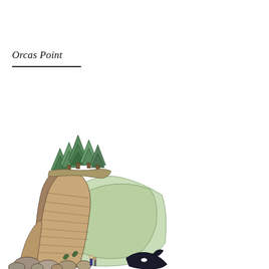Orcas Point
[Figure (illustration): Illustrated cliff face with evergreen conifer trees at the top, rocky layered stone cliff descending to boulders at the base, with green foliage in the background and a partial view of something at bottom right.]